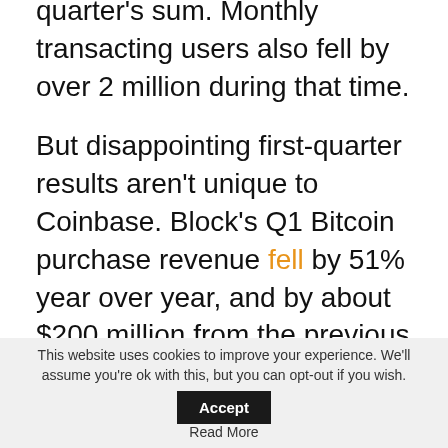quarter's sum. Monthly transacting users also fell by over 2 million during that time.
But disappointing first-quarter results aren't unique to Coinbase. Block's Q1 Bitcoin purchase revenue fell by 51% year over year, and by about $200 million from the previous quarter.
Coinbase isn't showing worry, however. The company's pinned tweet from last Wednesday mocks those who would
This website uses cookies to improve your experience. We'll assume you're ok with this, but you can opt-out if you wish. Accept Read More